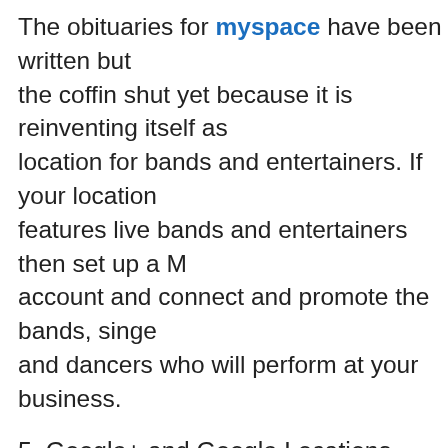The obituaries for myspace have been written but the coffin shut yet because it is reinventing itself as location for bands and entertainers. If your location features live bands and entertainers then set up a M account and connect and promote the bands, singe and dancers who will perform at your business.
5. Google+ and Google Locations
I've written that Google Places is now Google+ L published an eBook on the importance of Claiming Places. Google is such a big player now that it is in location based business to set up a Google+ Busi to claim their Google Places. Not only will this help on Google searches you will show up on searches Maps. This is essential especially when people do s